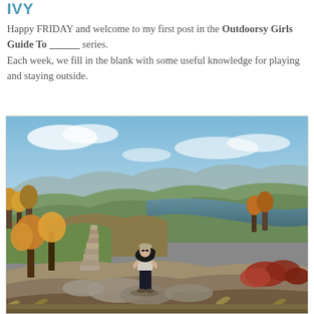IVY
Happy FRIDAY and welcome to my first post in the Outdoorsy Girls Guide To ______ series. Each week, we fill in the blank with some useful knowledge for playing and staying outside.
[Figure (photo): A person holding a black dog stands on a rocky outcrop next to a stone cairn, with a panoramic view of forested hills and a river or lake in the background under a blue sky with light clouds.]